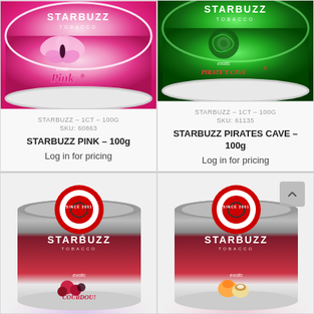[Figure (photo): Starbuzz Pink tobacco tin - pink butterfly design]
STARBUZZ – 1CT – 100G
SKU: 60863
STARBUZZ PINK – 100g
Log in for pricing
[Figure (photo): Starbuzz Pirates Cave tobacco tin - green swirl design]
STARBUZZ – 1CT – 100G
SKU: 61135
STARBUZZ PIRATES CAVE – 100g
Log in for pricing
[Figure (photo): Starbuzz tobacco round tin with pomegranate/berry design]
[Figure (photo): Starbuzz tobacco round tin with peach/cream pie design]